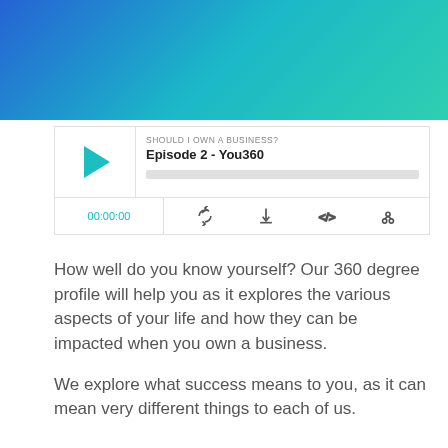[Figure (screenshot): Gradient header background transitioning from blue on left to teal/green on right]
[Figure (screenshot): Podcast player widget showing episode 'Episode 2 - You360' from 'SHOULD I OWN A BUSINESS?' podcast, with play button, progress bar, timestamp 00:00:00, and control icons]
How well do you know yourself? Our 360 degree profile will help you as it explores the various aspects of your life and how they can be impacted when you own a business.
We explore what success means to you, as it can mean very different things to each of us.